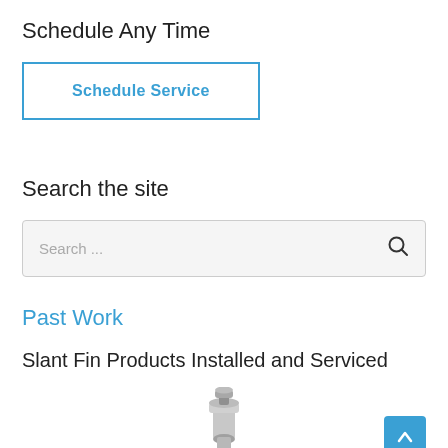Schedule Any Time
Schedule Service
Search the site
Search ...
Past Work
Slant Fin Products Installed and Serviced
[Figure (photo): Partial view of a metallic plumbing or heating product component (Slant Fin related), shown from below, with a back-to-top button (blue with up arrow) in the bottom right corner.]